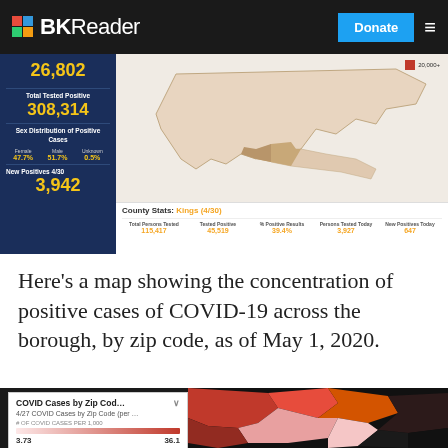BKReader | Donate
[Figure (screenshot): COVID-19 NY State stats dashboard showing 26,802 (top number), Total Tested Positive 308,314, Sex Distribution: Female 47.7%, Male 51.7%, Unknown 0.5%, New Positives 4/30: 3,942. County Stats: Kings (4/30) - Total Persons Tested: 115,417, Tested Positive: 45,519, % Positive Results: 39.4%, Persons Tested Today: 3,927, New Positives Today: 647. Map of New York State with county shading and legend showing 20,000+.]
Here’s a map showing the concentration of positive cases of COVID-19 across the borough, by zip code, as of May 1, 2020.
[Figure (map): COVID Cases by Zip Code map of Brooklyn showing concentration of cases, with popup showing '4/27 COVID Cases by Zip Code (per...)' and range 3.73 to 36.1 # OF COVID CASES PER 1,000. Map shows various shades of pink/red on dark background.]